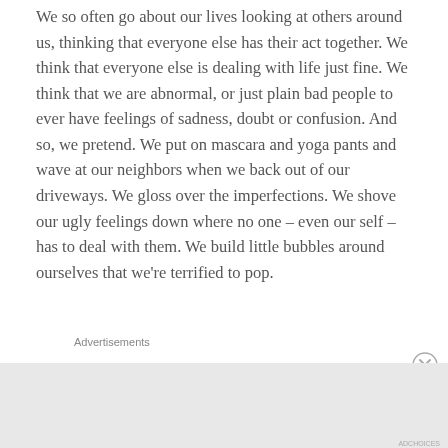We so often go about our lives looking at others around us, thinking that everyone else has their act together.  We think that everyone else is dealing with life just fine.  We think that we are abnormal, or just plain bad people to ever have feelings of sadness, doubt or confusion.  And so, we pretend.  We put on mascara and yoga pants and wave at our neighbors when we back out of our driveways.  We gloss over the imperfections.  We shove our ugly feelings down where no one – even our self – has to deal with them.  We build little bubbles around ourselves that we're terrified to pop.
Advertisements
[Figure (other): Close/dismiss button (circle with X)]
Advertisements
[Figure (other): DuckDuckGo advertisement banner: 'Search, browse, and email with more privacy. All in One Free App' with DuckDuckGo logo on dark background]
ADCHOICES